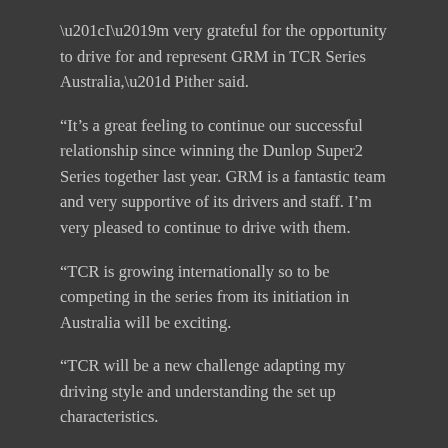“I’m very grateful for the opportunity to drive for and represent GRM in TCR Series Australia,” Pither said.
“It’s a great feeling to continue our successful relationship since winning the Dunlop Super2 Series together last year. GRM is a fantastic team and very supportive of its drivers and staff. I’m very pleased to continue to drive with them.
“TCR is growing internationally so to be competing in the series from its initiation in Australia will be exciting.
“TCR will be a new challenge adapting my driving style and understanding the set up characteristics.
“Now I have some positive direction, I look forward to driving the Renault Megane RS TCR and working hard towards another successful season.”
Pither’s resume makes for an impressive reading with drives in the Virgin Australia Supercars